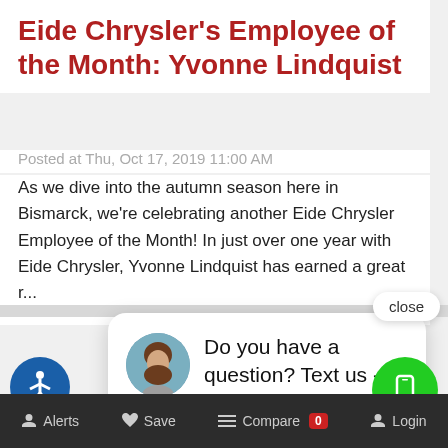Eide Chrysler's Employee of the Month: Yvonne Lindquist
Posted at Thu, Oct 17, 2019 11:00 AM
As we dive into the autumn season here in Bismarck, we're celebrating another Eide Chrysler Employee of the Month! In just over one year with Eide Chrysler, Yvonne Lindquist has earned a great r...
close
Do you have a question? Text us - click here.
[Figure (photo): Photo of a woman at a desk with computer monitors in the background]
Alerts  Save  Compare 0  Login